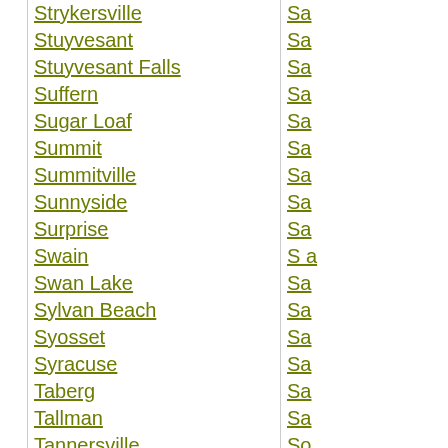Strykersville
Stuyvesant
Stuyvesant Falls
Suffern
Sugar Loaf
Summit
Summitville
Sunnyside
Surprise
Swain
Swan Lake
Sylvan Beach
Syosset
Syracuse
Taberg
Tallman
Tannersville
Tappan
Tarrytown
Thendara
Theresa
Thiells
Thompson Ridge
Thompsonville
Thornwood
Thousand Island Park
Three Mile Bay